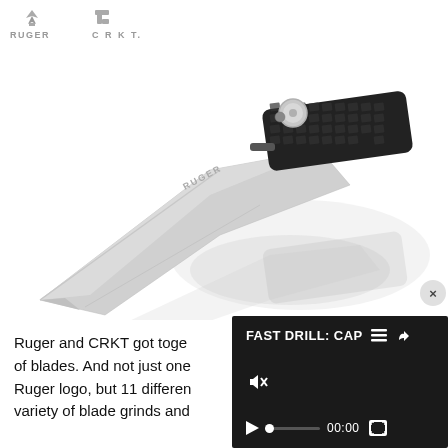[Figure (photo): A folding knife with a silver blade inscribed with RUGER, a black textured handle with a silver thumb stud, photographed on a white background with its reflection visible. Logos for RUGER and CRKT appear in the upper left.]
[Figure (screenshot): A video player overlay with dark background showing 'FAST DRILL: CAP' title, mute icon (crossed speaker), play button, progress bar, 00:00 timestamp, and fullscreen icon. A circular close button (x) appears above the player.]
Ruger and CRKT got toge of blades. And not just one Ruger logo, but 11 differen variety of blade grinds and